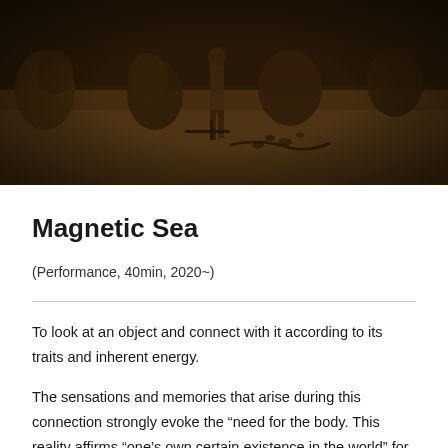[Figure (photo): Dark sepia-toned photograph of a performance stage scene showing figures and objects scattered on a wooden floor, bags and debris visible, dark background.]
Magnetic Sea
(Performance, 40min, 2020~)
To look at an object and connect with it according to its traits and inherent energy.
The sensations and memories that arise during this connection strongly evoke the “need for the body. This reality affirms “one’s own certain existence in the world” for people who are exhausted by the torrent of information. Okamoto has learned how to fight